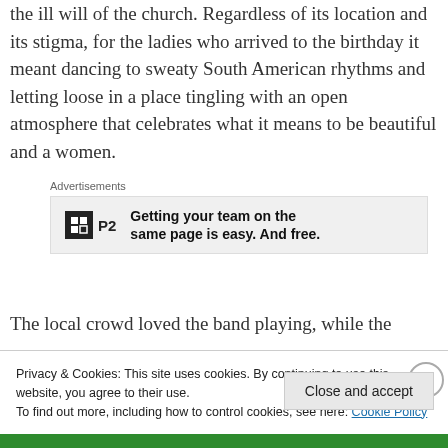the ill will of the church. Regardless of its location and its stigma, for the ladies who arrived to the birthday it meant dancing to sweaty South American rhythms and letting loose in a place tingling with an open atmosphere that celebrates what it means to be beautiful and a women.
[Figure (other): Advertisement banner for P2 with text: Getting your team on the same page is easy. And free.]
The local crowd loved the band playing, while the
Privacy & Cookies: This site uses cookies. By continuing to use this website, you agree to their use. To find out more, including how to control cookies, see here: Cookie Policy
Close and accept